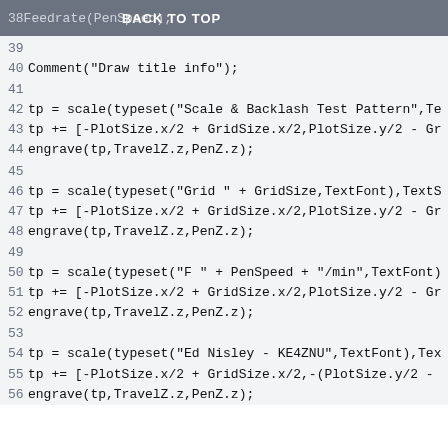38 Feedrate(PenSpeed); BACK TO TOP
39
40 Comment("Draw title info");
41
42 tp = scale(typeset("Scale & Backlash Test Pattern",Te...
43 tp += [-PlotSize.x/2 + GridSize.x/2,PlotSize.y/2 - Gr...
44 engrave(tp,TravelZ.z,PenZ.z);
45
46 tp = scale(typeset("Grid " + GridSize,TextFont),TextS...
47 tp += [-PlotSize.x/2 + GridSize.x/2,PlotSize.y/2 - Gr...
48 engrave(tp,TravelZ.z,PenZ.z);
49
50 tp = scale(typeset("F " + PenSpeed + "/min",TextFont)...
51 tp += [-PlotSize.x/2 + GridSize.x/2,PlotSize.y/2 - Gr...
52 engrave(tp,TravelZ.z,PenZ.z);
53
54 tp = scale(typeset("Ed Nisley - KE4ZNU",TextFont),Tex...
55 tp += [-PlotSize.x/2 + GridSize.x/2,-(PlotSize.y/2 - ...
56 engrave(tp,TravelZ.z,PenZ.z);